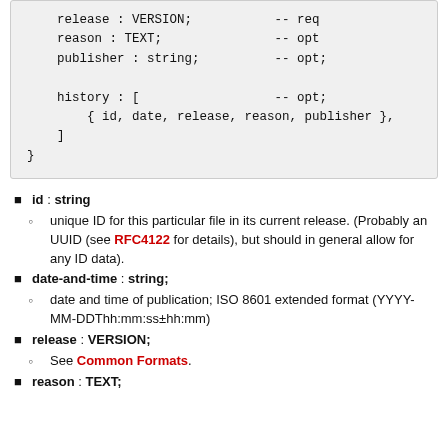release : VERSION;  -- req
    reason : TEXT;  -- opt
    publisher : string;  -- opt;

    history : [  -- opt;
        { id, date, release, reason, publisher },
    ]
}
id : string
unique ID for this particular file in its current release. (Probably an UUID (see RFC4122 for details), but should in general allow for any ID data).
date-and-time : string;
date and time of publication; ISO 8601 extended format (YYYY-MM-DDThh:mm:ss±hh:mm)
release : VERSION;
See Common Formats.
reason : TEXT;